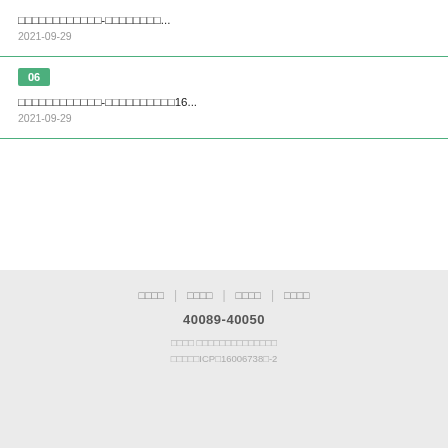□□□□□□□□□□□□-□□□□□□□□... 2021-09-29
06 □□□□□□□□□□□□-□□□□□□□□□□16... 2021-09-29
□□□□ | □□□□ | □□□□ | □□□□
40089-40050
□□□□ □□□□□□□□□□□□□□
□□□□□ICP□16006738□-2